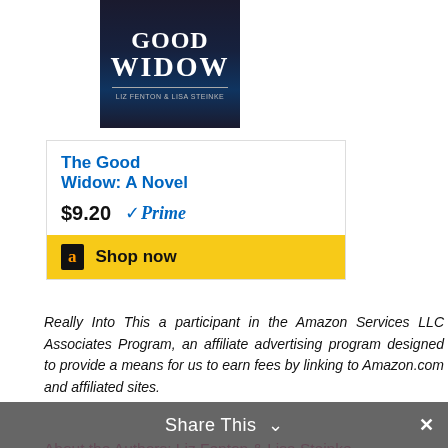[Figure (photo): Book cover for 'The Good Widow: A Novel' with dark blue/navy background]
The Good Widow: A Novel
$9.20 Prime
Shop now
Really Into This a participant in the Amazon Services LLC Associates Program, an affiliate advertising program designed to provide a means for us to earn fees by linking to Amazon.com and affiliated sites.
About the Authors: Liz Fenton & Lisa Steinke
[Figure (photo): Photo placeholder of Liz and Lisa, authors]
Liz and Lisa have been best friends for
Share This ∨